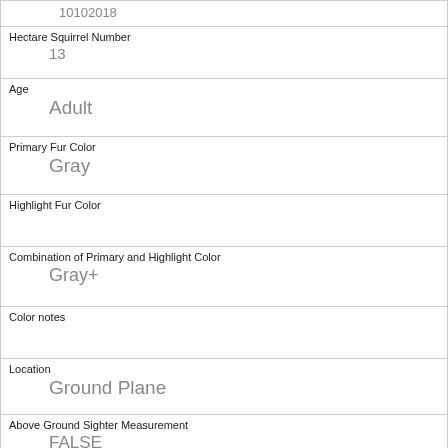| 10102018 |
| Hectare Squirrel Number | 13 |
| Age | Adult |
| Primary Fur Color | Gray |
| Highlight Fur Color |  |
| Combination of Primary and Highlight Color | Gray+ |
| Color notes |  |
| Location | Ground Plane |
| Above Ground Sighter Measurement | FALSE |
| Specific Location |  |
| Running | 0 |